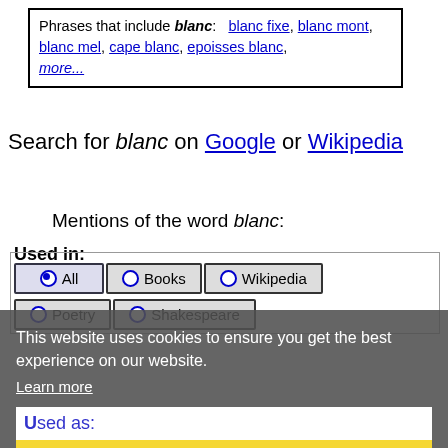Phrases that include blanc: blanc fixe, blanc mont, blanc mel, cape blanc, epoisses blanc, more...
Search for blanc on Google or Wikipedia
Mentions of the word blanc:
Used in:
[Figure (screenshot): Radio button group with options: All (selected), Books, Wikipedia (top row); Poetry, Shakespeare (second row)]
[Figure (screenshot): Cookie consent overlay: 'This website uses cookies to ensure you get the best experience on our website. Learn more' with 'Got it!' button, and 'Used as:' section with All/Name/Noun radio buttons]